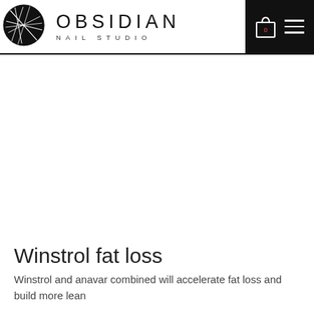[Figure (logo): Obsidian Nail Studio logo with circular black geometric mark and text 'OBSIDIAN NAIL STUDIO']
Winstrol fat loss
Winstrol and anavar combined will accelerate fat loss and build more lean